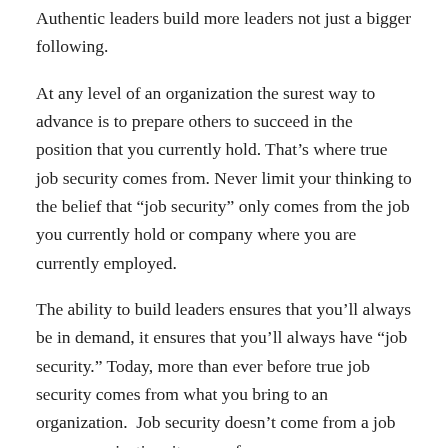Authentic leaders build more leaders not just a bigger following.
At any level of an organization the surest way to advance is to prepare others to succeed in the position that you currently hold. That’s where true job security comes from. Never limit your thinking to the belief that “job security” only comes from the job you currently hold or company where you are currently employed.
The ability to build leaders ensures that you’ll always be in demand, it ensures that you’ll always have “job security.” Today, more than ever before true job security comes from what you bring to an organization.  Job security doesn’t come from a job or an organization, it comes from you.
Leaders who see themselves as “the boss” responsible only for controlling and ruling people miss out on what authentic leadership is all about. Authentic leadership is about building